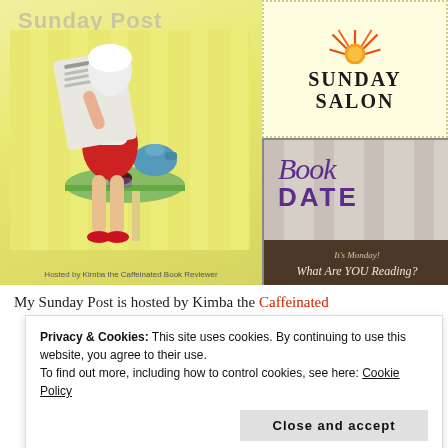[Figure (illustration): Sunday Post blog meme image: cartoon woman sitting reading newspaper at a cafe table with teapot, yellow-green striped background, 'Sunday Post' title at top, 'Hosted by Kimba the Caffeinated Book Reviewer' at bottom]
[Figure (logo): Sunday Salon logo: white box with dotted yellow border, orange/red sun icon at top, 'SUNDAY SALON' text in bold serif]
[Figure (logo): Book Date / It's Monday What Are You Reading logo: striped beige background, 'Book Date' in cursive purple and bold block letters, brown bar at bottom reading 'What Are YOU Reading?']
My Sunday Post is hosted by Kimba the Caffeinated
Privacy & Cookies: This site uses cookies. By continuing to use this website, you agree to their use.
To find out more, including how to control cookies, see here: Cookie Policy
Close and accept
Kathryn at Book Date